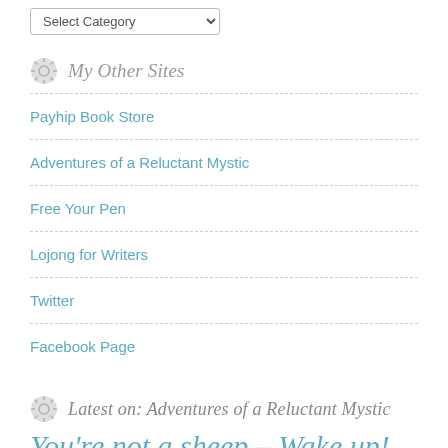[Figure (other): Select Category dropdown widget]
My Other Sites
Payhip Book Store
Adventures of a Reluctant Mystic
Free Your Pen
Lojong for Writers
Twitter
Facebook Page
Latest on: Adventures of a Reluctant Mystic
You're not a sheep – Wake up!